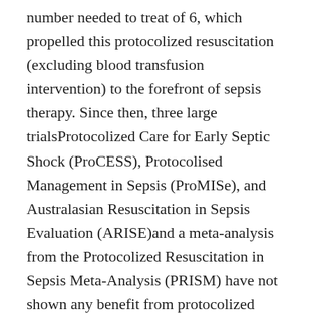number needed to treat of 6, which propelled this protocolized resuscitation (excluding blood transfusion intervention) to the forefront of sepsis therapy. Since then, three large trialsProtocolized Care for Early Septic Shock (ProCESS), Protocolised Management in Sepsis (ProMISe), and Australasian Resuscitation in Sepsis Evaluation (ARISE)and a meta-analysis from the Protocolized Resuscitation in Sepsis Meta-Analysis (PRISM) have not shown any benefit from protocolized management compared to usual care.5,3436 In all three trials, patients received early antibiotics and > 30 cc/kg of intravenous fluid prior to randomization, which may have contributed to the lack of observed mortality benefit. These studies did, however, establish the recommendation of the fixed